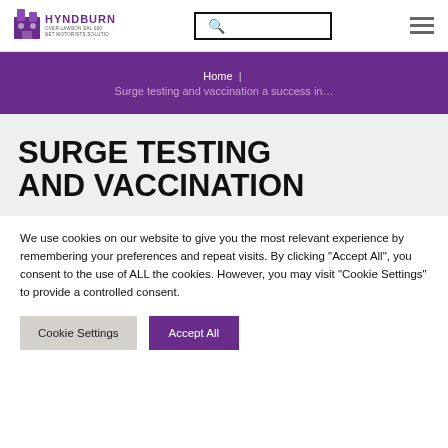Hyndburn Borough Council — navigation header with logo, search, and menu
Home | Surge testing and vaccination a success in…
SURGE TESTING AND VACCINATION
We use cookies on our website to give you the most relevant experience by remembering your preferences and repeat visits. By clicking "Accept All", you consent to the use of ALL the cookies. However, you may visit "Cookie Settings" to provide a controlled consent.
Cookie Settings | Accept All